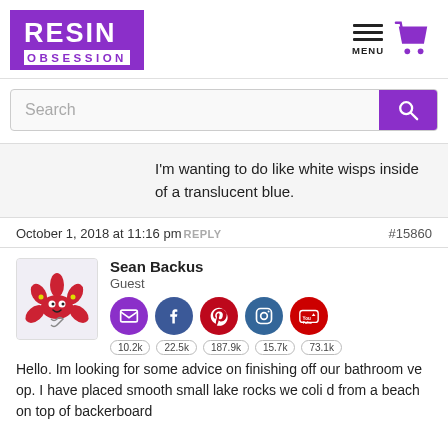[Figure (logo): Resin Obsession logo - purple box with white text RESIN and white box with purple text OBSESSION]
[Figure (other): Hamburger menu icon with MENU label and purple shopping cart icon]
Search
I'm wanting to do like white wisps inside of a translucent blue.
October 1, 2018 at 11:16 pm REPLY #15860
[Figure (photo): Avatar image of cartoon red starfish character]
Sean Backus
Guest
[Figure (other): Social media icons: email (purple), Facebook (blue), Pinterest (red), Instagram (dark blue), YouTube (red). Share counts below: 10.2k, 22.5k, 187.9k, 15.7k, 73.1k]
Hello. Im looking for some advice on finishing off our bathroom ve op. I have placed smooth small lake rocks we coli d from a beach on top of backerboard